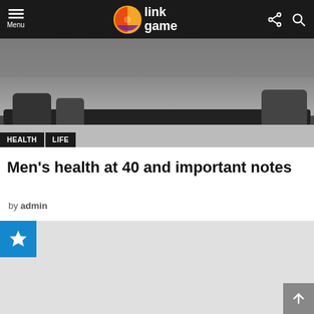Menu | link game
[Figure (photo): Close-up photo of feet/shoes on a black exercise mat on a grey floor]
HEALTH   LIFE
Men's health at 40 and important notes
by admin
[Figure (other): Advertisement or content placeholder block with blue star badge, grey background]